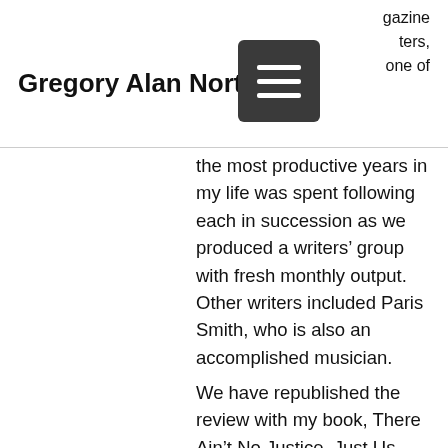Gregory Alan Norton
the most productive years in my life was spent following each in succession as we produced a writers’ group with fresh monthly output. Other writers included Paris Smith, who is also an accomplished musician.
We have republished the review with my book, There Ain’t No Justice, Just Us because I’m mentioned in there as well. If you click on the book title then reviews, it should roll up. What an honor to be recognized among so many proletarian talents. I think anyone in our group could be tagged as one of Gramsci’s “organic intellectuals” of the working class. And as such refute such non-sense as Trotsky’s